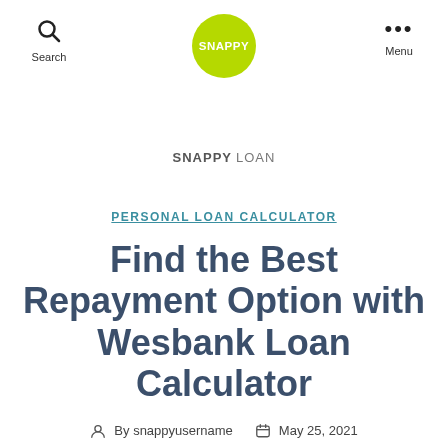Search | SNAPPY LOAN | Menu
PERSONAL LOAN CALCULATOR
Find the Best Repayment Option with Wesbank Loan Calculator
By snappyusername  May 25, 2021